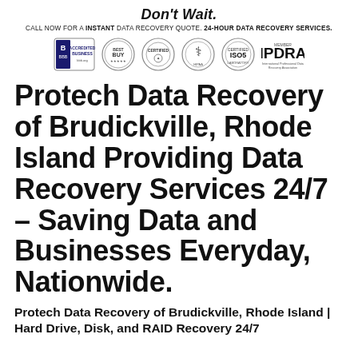Don't Wait.
CALL NOW FOR A INSTANT DATA RECOVERY QUOTE. 24-HOUR DATA RECOVERY SERVICES.
[Figure (logo): Row of six certification and accreditation badge logos: BBB Accredited Business, Best Buy, a circular certification seal, HIPAA caduceus seal, ISO5 certified seal, IPDRA International Professional Data Recovery Association]
Protech Data Recovery of Brudickville, Rhode Island Providing Data Recovery Services 24/7 – Saving Data and Businesses Everyday, Nationwide.
Protech Data Recovery of Brudickville, Rhode Island | Hard Drive, Disk, and RAID Recovery 24/7